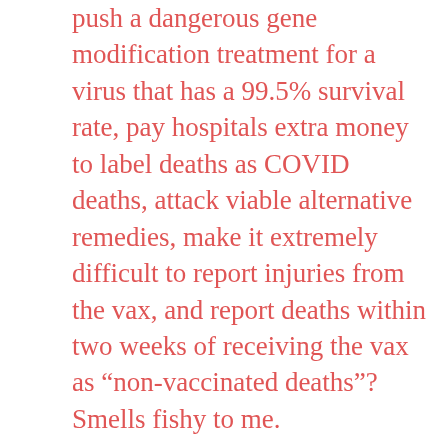push a dangerous gene modification treatment for a virus that has a 99.5% survival rate, pay hospitals extra money to label deaths as COVID deaths, attack viable alternative remedies, make it extremely difficult to report injuries from the vax, and report deaths within two weeks of receiving the vax as “non-vaccinated deaths”? Smells fishy to me.
These are not vaccines (they don’t fit the legal definition of a vaccine). They are genetic modification bioweapons designed to depopulate the earth.  They seek to destroy us – image-bearers of God. So of course God is concerned and involved. A close look at COVID-19 and the vax reveals